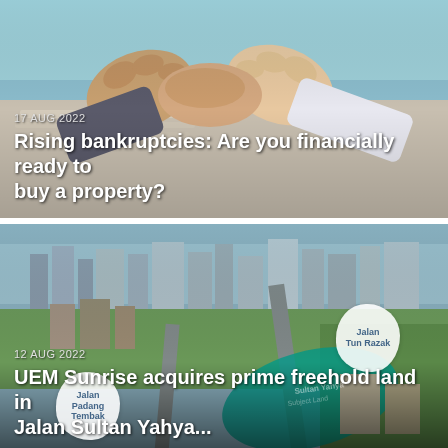[Figure (photo): Two people shaking hands over documents, business deal concept]
17 AUG 2022
Rising bankruptcies: Are you financially ready to buy a property?
[Figure (photo): Aerial view of Kuala Lumpur city with road and buildings, showing Jalan Padang Tembak and Jalan Tun Razak labels, with a teal overlay shape labeled Subject Land and Sultan Yahya]
12 AUG 2022
UEM Sunrise acquires prime freehold land in Jalan Sultan Yahya...